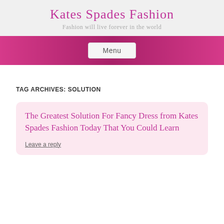Kates Spades Fashion
Fashion will live forever in the world
Menu
TAG ARCHIVES: SOLUTION
The Greatest Solution For Fancy Dress from Kates Spades Fashion Today That You Could Learn
Leave a reply